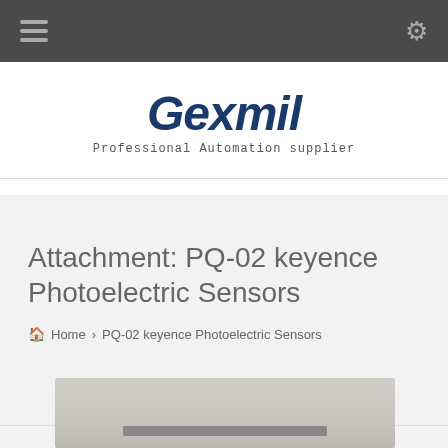Navigation bar with hamburger menu and settings icon
Gexmil — Professional Automation supplier
Attachment: PQ-02 keyence Photoelectric Sensors
🏠 Home › PQ-02 keyence Photoelectric Sensors
[Figure (photo): Product photo of PQ-02 keyence Photoelectric Sensor, partially cropped at bottom of page]